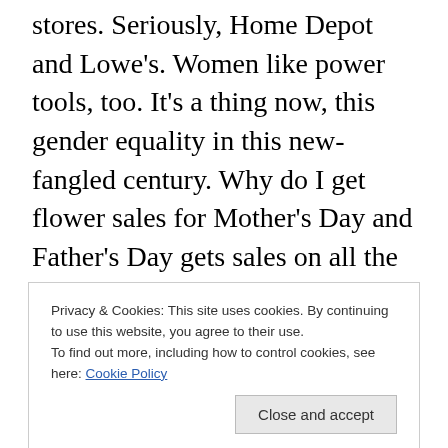stores. Seriously, Home Depot and Lowe's. Women like power tools, too. It's a thing now, this gender equality in this new-fangled century. Why do I get flower sales for Mother's Day and Father's Day gets sales on all the cool toys?? Have either of you stores bothered to look at the badass women in home improvement? They have blogs where they show other women how to put in walls and rip out and replace bath tubs. We're not just sewing decorative pillow cases, ya know? Mommy needs a dual bevel miter saw, bitches! The first store that recognizes this will have a mega following of devoted diy divas. I'm
Privacy & Cookies: This site uses cookies. By continuing to use this website, you agree to their use.
To find out more, including how to control cookies, see here: Cookie Policy
Close and accept